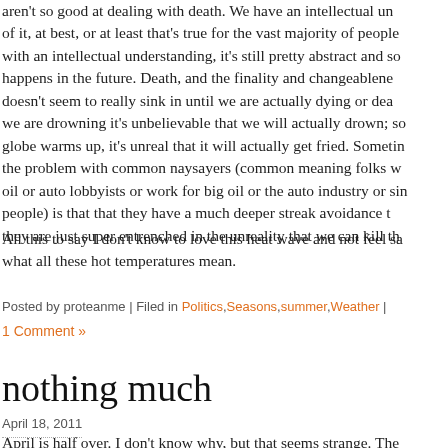aren't so good at dealing with death. We have an intellectual understanding of it, at best, or at least that's true for the vast majority of people. Even with an intellectual understanding, it's still pretty abstract and something that happens in the future. Death, and the finality and changeableness of it, doesn't seem to really sink in until we are actually dying or dead. Even when we are drowning it's unbelievable that we will actually drown; so even as the globe warms up, it's unreal that it will actually get fried. Sometimes I think the problem with common naysayers (common meaning folks who don't work for oil or auto lobbyists or work for big oil or the auto industry or similar vested people) is that that they have a much deeper streak avoidance that and that they are just super entrenched in the unreality that we can kill the...
All this to say I don't know to love this heat wave and not feel sad about what all these hot temperatures mean.
Posted by proteanme | Filed in Politics,Seasons,summer,Weather |
1 Comment »
nothing much
April 18, 2011
April is half over. I don't know why, but that seems strange. The